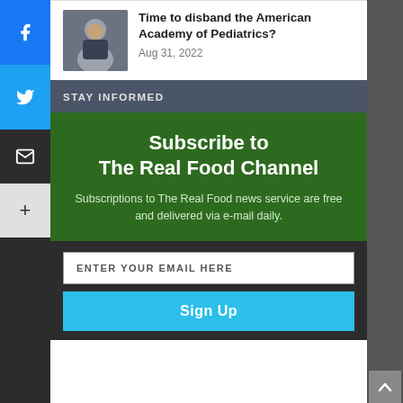[Figure (photo): Thumbnail photo of a man, associated with article about American Academy of Pediatrics]
Time to disband the American Academy of Pediatrics?
Aug 31, 2022
STAY INFORMED
Subscribe to The Real Food Channel
Subscriptions to The Real Food news service are free and delivered via e-mail daily.
ENTER YOUR EMAIL HERE
Sign Up